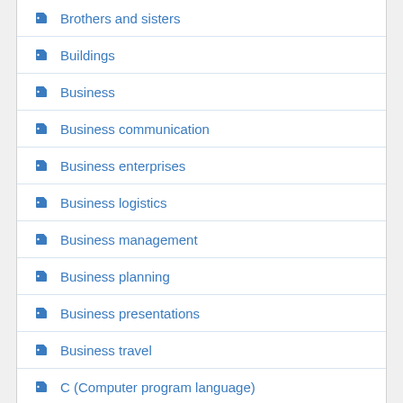Brothers and sisters
Buildings
Business
Business communication
Business enterprises
Business logistics
Business management
Business planning
Business presentations
Business travel
C (Computer program language)